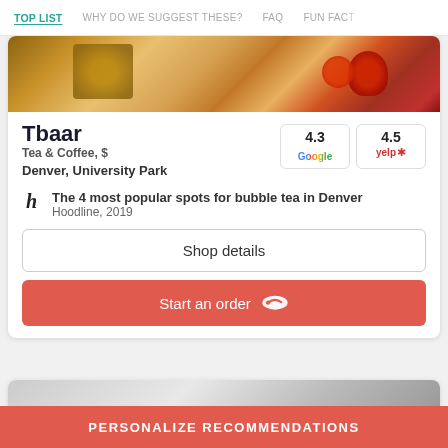TOP LIST | WHY DO WE SUGGEST THESE? | FAQ | FUN FACT
[Figure (photo): Food photo showing pastries/charcuterie board with strawberries on a wooden surface]
Tbaar
Tea & Coffee, $
Denver, University Park
[Figure (infographic): Google rating 4.3 and Yelp rating 4.5 badge boxes]
The 4 most popular spots for bubble tea in Denver
Hoodline, 2019
Shop details
Start an order
PERSONALIZE RECOMMENDATIONS